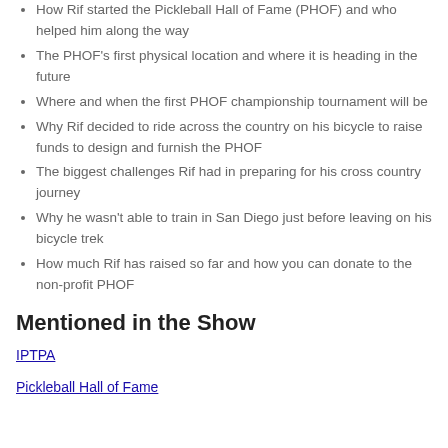How Rif started the Pickleball Hall of Fame (PHOF) and who helped him along the way
The PHOF's first physical location and where it is heading in the future
Where and when the first PHOF championship tournament will be
Why Rif decided to ride across the country on his bicycle to raise funds to design and furnish the PHOF
The biggest challenges Rif had in preparing for his cross country journey
Why he wasn't able to train in San Diego just before leaving on his bicycle trek
How much Rif has raised so far and how you can donate to the non-profit PHOF
Mentioned in the Show
IPTPA
Pickleball Hall of Fame